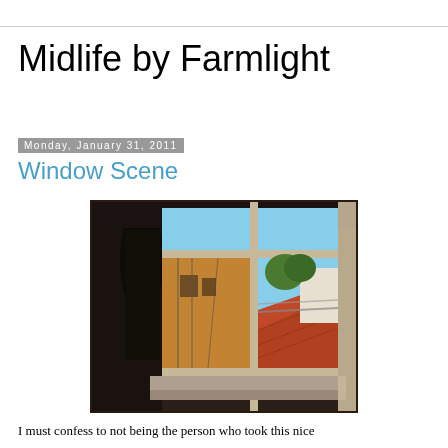Midlife by Farmlight
Monday, January 31, 2011
Window Scene
[Figure (photo): A photograph taken from inside a room looking out through an open window. The window frame is dark. Through the window panes, a view of rooftops with terracotta tiles, a stone or brick building facade, green trees, and a blue sky is visible.]
I must confess to not being the person who took this nice